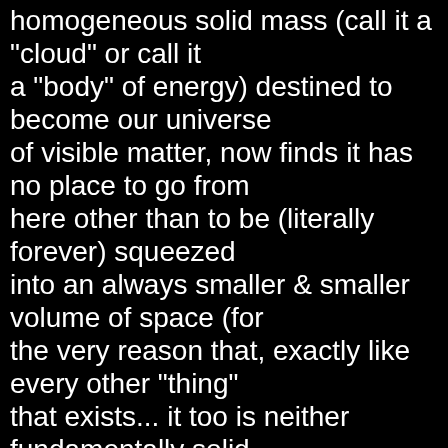homogeneous solid mass (call it a "cloud" or call it a "body" of energy) destined to become our universe of visible matter, now finds it has no place to go from here other than to be (literally forever) squeezed into an always smaller & smaller volume of space (for the very reason that, exactly like every other "thing" that exists... it too is neither fundamentally solid nor immutable and therefore can not refuse to be so squeezed)... effectively causing it to "implode"